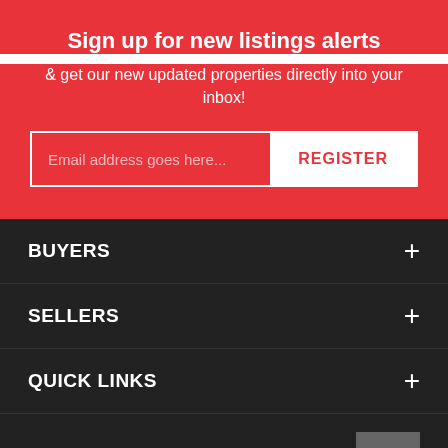Sign up for new listings alerts
& get our new updated properties directly into your inbox!
Email address goes here...
REGISTER
BUYERS +
SELLERS +
QUICK LINKS +
COMMUNITIES ∧
STAY IN TOUCH +